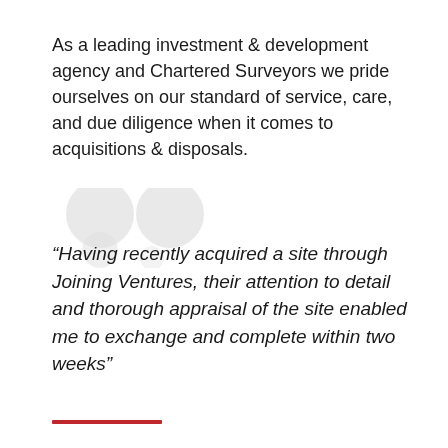As a leading investment & development agency and Chartered Surveyors we pride ourselves on our standard of service, care, and due diligence when it comes to acquisitions & disposals.
“Having recently acquired a site through Joining Ventures, their attention to detail and thorough appraisal of the site enabled me to exchange and complete within two weeks”